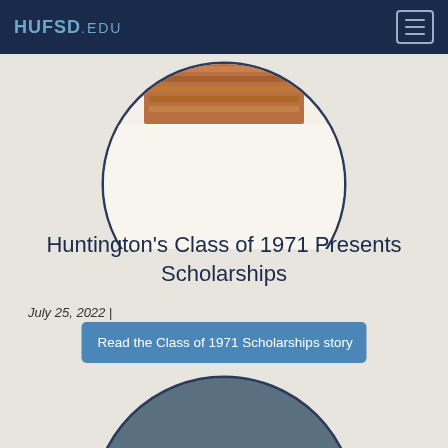HUFSD.EDU
[Figure (photo): Circular cropped photo showing a wood-paneled ceiling or room detail, partially visible at top of page]
Huntington’s Class of 1971 Presents Scholarships
July 25, 2022 |
Read the Class of 1971 Scholarships story
[Figure (photo): Circular cropped photo showing two young women smiling, against a gray-blue background, partially visible at bottom of page]